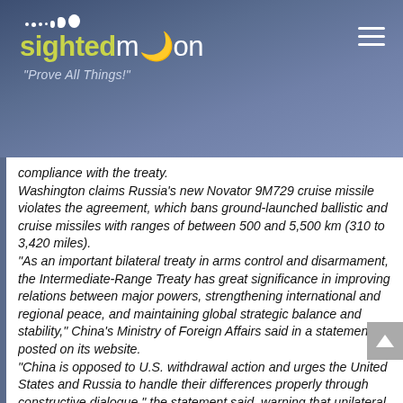sightedmoon "Prove All Things!"
compliance with the treaty.
Washington claims Russia's new Novator 9M729 cruise missile violates the agreement, which bans ground-launched ballistic and cruise missiles with ranges of between 500 and 5,500 km (310 to 3,420 miles).
"As an important bilateral treaty in arms control and disarmament, the Intermediate-Range Treaty has great significance in improving relations between major powers, strengthening international and regional peace, and maintaining global strategic balance and stability," China's Ministry of Foreign Affairs said in a statement posted on its website.
"China is opposed to U.S. withdrawal action and urges the United States and Russia to handle their differences properly through constructive dialogue," the statement said, warning that unilateral withdrawal could trigger "negative consequences".
The agreement officially expires in early 2021 but can be extended by another five years if both Washington and